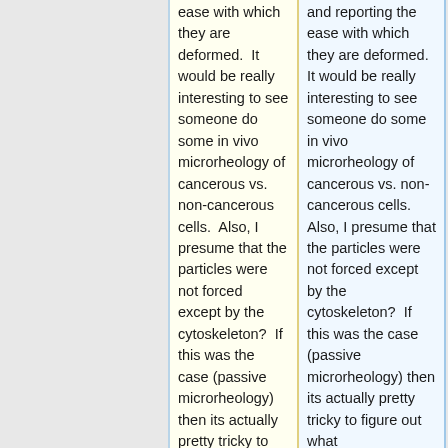ease with which they are deformed.  It would be really interesting to see someone do some in vivo microrheology of cancerous vs. non-cancerous cells.  Also, I presume that the particles were not forced except by the cytoskeleton?  If this was the case (passive microrheology) then its actually pretty tricky to figure out what the proportion of
and reporting the ease with which they are deformed.  It would be really interesting to see someone do some in vivo microrheology of cancerous vs. non-cancerous cells.  Also, I presume that the particles were not forced except by the cytoskeleton?  If this was the case (passive microrheology) then its actually pretty tricky to figure out what